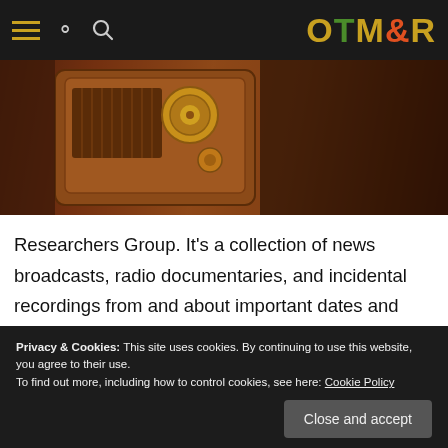OTM&R
[Figure (photo): Vintage wooden radio receiver, close-up photo with warm brown tones]
Researchers Group. It's a collection of news broadcasts, radio documentaries, and incidental recordings from and about important dates and events in US history. Thanks to the source over at the Archive.org and the Old Time Radio Researchers Group for making all this audio available.
Privacy & Cookies: This site uses cookies. By continuing to use this website, you agree to their use.
To find out more, including how to control cookies, see here: Cookie Policy